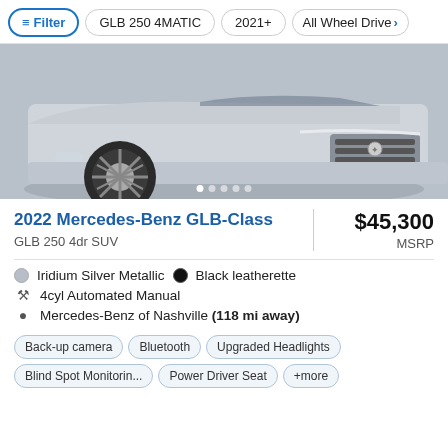Filter | GLB 250 4MATIC | 2021+ | All Wheel Drive
[Figure (photo): Front view of a silver Mercedes-Benz GLB-Class SUV parked outdoors, close-up on the front wheel, grille and bumper]
2022 Mercedes-Benz GLB-Class
GLB 250 4dr SUV
$45,300 MSRP
Iridium Silver Metallic  •  Black leatherette
4cyl Automated Manual
Mercedes-Benz of Nashville (118 mi away)
Back-up camera  Bluetooth  Upgraded Headlights  Blind Spot Monitorin...  Power Driver Seat  +more